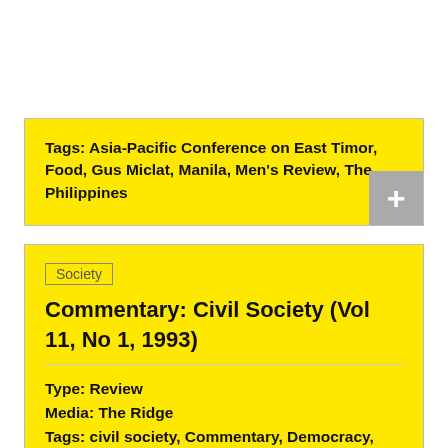Tags:  Asia-Pacific Conference on East Timor, Food, Gus Miclat, Manila, Men's Review, The Philippines
Society
Commentary: Civil Society (Vol 11, No 1, 1993)
Type:  Review
Media:  The Ridge
Tags:  civil society, Commentary, Democracy, Gabriel Paul Tan, The Ridge